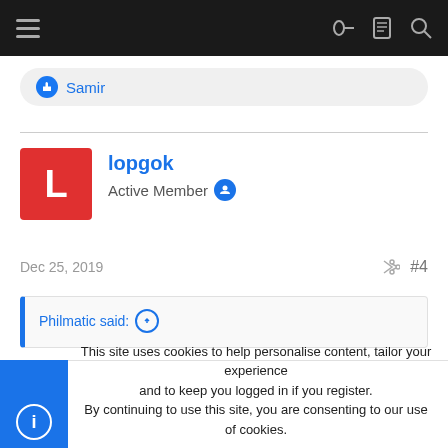≡  🔑 📋 🔍
👍 Samir
lopgok
Active Member
Dec 25, 2019   < #4
Philmatic said: ↑
This site uses cookies to help personalise content, tailor your experience and to keep you logged in if you register.
By continuing to use this site, you are consenting to our use of cookies.
✓ Accept   Learn more...